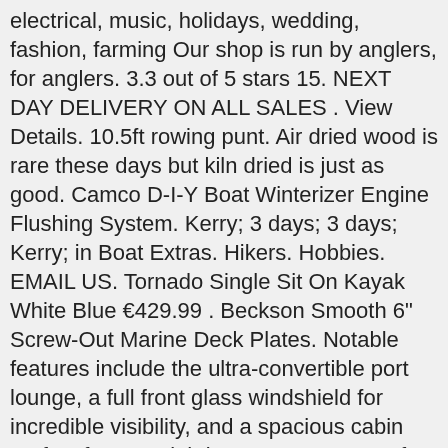electrical, music, holidays, wedding, fashion, farming Our shop is run by anglers, for anglers. 3.3 out of 5 stars 15. NEXT DAY DELIVERY ON ALL SALES . View Details. 10.5ft rowing punt. Air dried wood is rare these days but kiln dried is just as good. Camco D-I-Y Boat Winterizer Engine Flushing System. Kerry; 3 days; 3 days; Kerry; in Boat Extras. Hikers. Hobbies. EMAIL US. Tornado Single Sit On Kayak White Blue €429.99 . Beckson Smooth 6" Screw-Out Marine Deck Plates. Notable features include the ultra-convertible port lounge, a full front glass windshield for incredible visibility, and a spacious cabin perfect for overnighting. Just contact us for full details. Delivery Dublin Ireland - Reptiles Fishing Tackle Aquariums Pet Supplies Country Clothing Home & Hardware Pet Homes Garden Sheds Gift Vouchers Winter Specials Boats, Kayaks & Boat Accessories 40.09868230000001,-83.11358659999999 As the ideal companion for escaping routine, a Zodiac boat is the